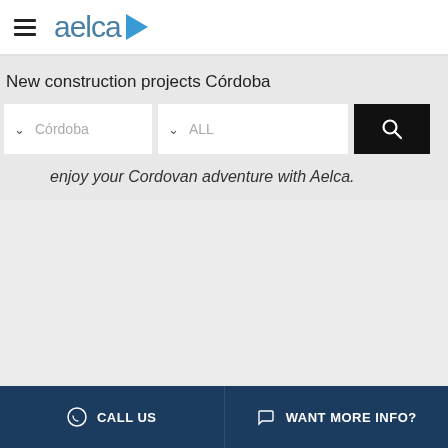aelca (logo with hamburger menu)
New construction projects Córdoba
Dropdown: Córdoba | Dropdown: ALL | Search button
enjoy your Cordovan adventure with Aelca.
CALL US | WANT MORE INFO?